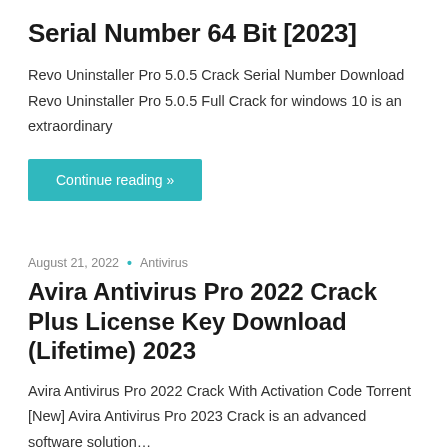Serial Number 64 Bit [2023]
Revo Uninstaller Pro 5.0.5 Crack Serial Number Download Revo Uninstaller Pro 5.0.5 Full Crack for windows 10 is an extraordinary
Continue reading »
August 21, 2022 • Antivirus
Avira Antivirus Pro 2022 Crack Plus License Key Download (Lifetime) 2023
Avira Antivirus Pro 2022 Crack With Activation Code Torrent [New] Avira Antivirus Pro 2023 Crack is an advanced software solution…